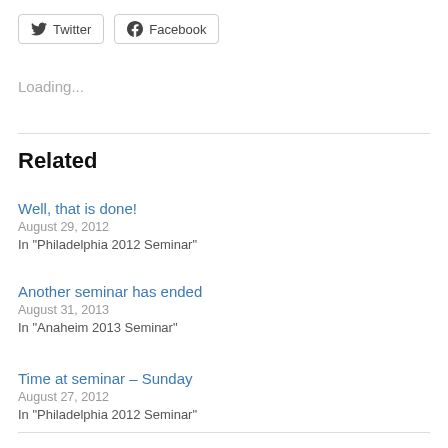[Figure (other): Twitter and Facebook social share buttons]
Loading...
Related
Well, that is done!
August 29, 2012
In "Philadelphia 2012 Seminar"
Another seminar has ended
August 31, 2013
In "Anaheim 2013 Seminar"
Time at seminar – Sunday
August 27, 2012
In "Philadelphia 2012 Seminar"